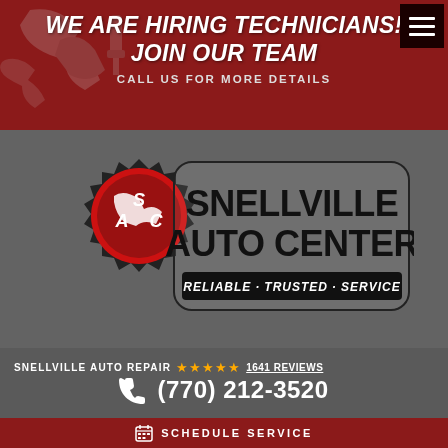WE ARE HIRING TECHNICIANS! JOIN OUR TEAM
CALL US FOR MORE DETAILS
[Figure (logo): Snellville Auto Center logo with gear icon and text 'RELIABLE · TRUSTED · SERVICE']
SNELLVILLE AUTO REPAIR ★★★★★ 1641 REVIEWS
(770) 212-3520
SCHEDULE SERVICE